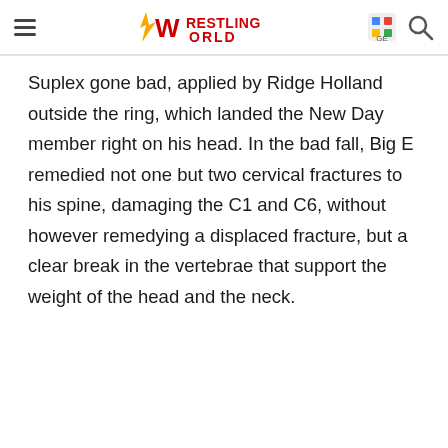Wrestling World
Suplex gone bad, applied by Ridge Holland outside the ring, which landed the New Day member right on his head. In the bad fall, Big E remedied not one but two cervical fractures to his spine, damaging the C1 and C6, without however remedying a displaced fracture, but a clear break in the vertebrae that support the weight of the head and the neck.